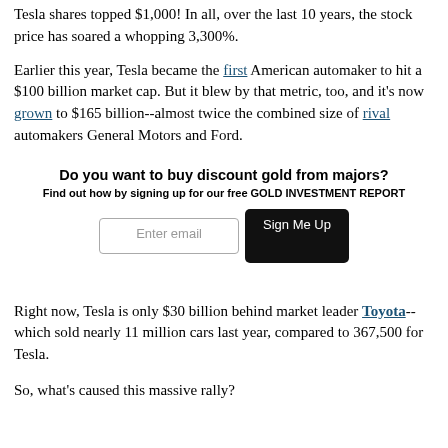Tesla shares topped $1,000! In all, over the last 10 years, the stock price has soared a whopping 3,300%.
Earlier this year, Tesla became the first American automaker to hit a $100 billion market cap. But it blew by that metric, too, and it's now grown to $165 billion--almost twice the combined size of rival automakers General Motors and Ford.
Do you want to buy discount gold from majors?
Find out how by signing up for our free GOLD INVESTMENT REPORT
Right now, Tesla is only $30 billion behind market leader Toyota--which sold nearly 11 million cars last year, compared to 367,500 for Tesla.
So, what's caused this massive rally?